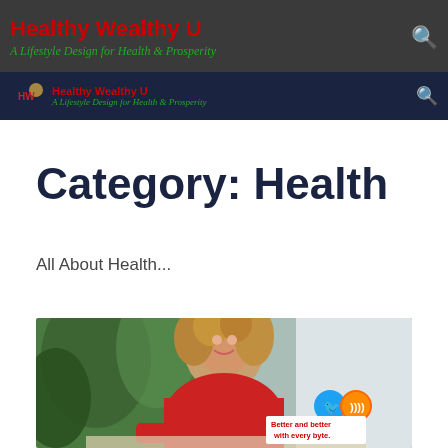Healthy Wealthy U — A Lifestyle Design for Health & Prosperity
Category: Health
All About Health...
[Figure (photo): Smiling young woman with curly hair wearing a red sweater, leaning on a surface with a plant in the background. Social media icons (Twitter and RSS) visible. Text overlay reads 'Better and better with every byte.']